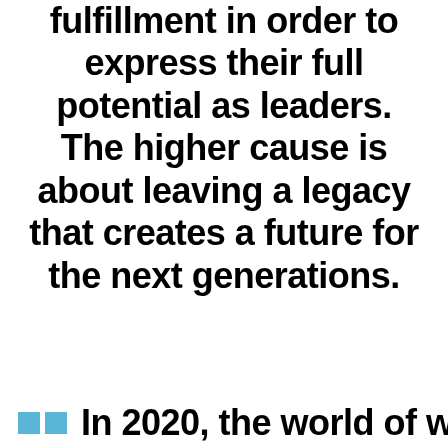fulfillment in order to express their full potential as leaders. The higher cause is about leaving a legacy that creates a future for the next generations.
In 2020, the world of work